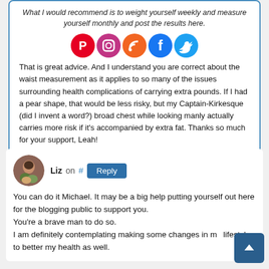What I would recommend is to weight yourself weekly and measure yourself monthly and post the results here.
That is great advice. And I understand you are correct about the waist measurement as it applies to so many of the issues surrounding health complications of carrying extra pounds. If I had a pear shape, that would be less risky, but my Captain-Kirkesque (did I invent a word?) broad chest while looking manly actually carries more risk if it’s accompanied by extra fat. Thanks so much for your support, Leah!
[Figure (logo): Social media icons: Pinterest, Instagram, RSS, Facebook, Twitter]
[Figure (photo): Avatar photo of Liz, a woman with a child]
Liz on # Reply
You can do it Michael. It may be a big help putting yourself out here for the blogging public to support you.
You’re a brave man to do so.
I am definitely contemplating making some changes in my lifestyle to better my health as well.